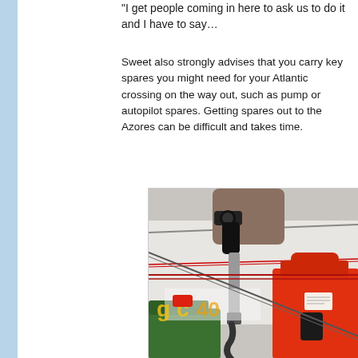“I get people coming in here to ask us to do it and I have to say…
Sweet also strongly advises that you carry key spares you might need for your Atlantic crossing on the way out, such as pump or autopilot spares. Getting spares out to the Azores can be difficult and takes time.
[Figure (photo): A person filling red jerry cans with fuel using a fuel pump nozzle on what appears to be a boat deck. Red and green fuel jerricans are visible, with rope rigging lines crossing the image. A yellow logo/text is partially visible in the background.]